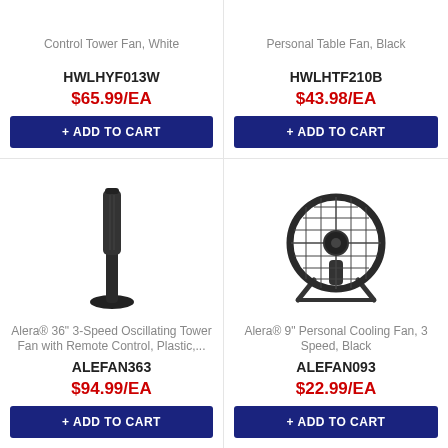Control Tower Fan, White
HWLHYF013W
$65.99/EA
+ ADD TO CART
Personal Table Fan, Black
HWLHTF210B
$43.98/EA
+ ADD TO CART
[Figure (photo): Black tower fan, slim vertical design with base]
Alera® 36" 3-Speed Oscillating Tower Fan with Remote Control, Plastic,...
ALEFAN363
$94.99/EA
+ ADD TO CART
[Figure (photo): Black circular desk/floor fan with metal grille and stand]
Alera® 9" Personal Cooling Fan, 3 Speed, Black
ALEFAN093
$22.99/EA
+ ADD TO CART